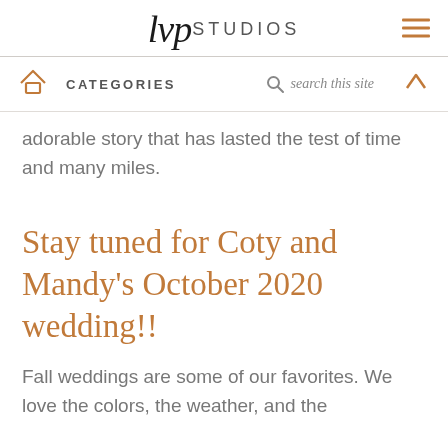lvp STUDIOS
CATEGORIES  search this site
adorable story that has lasted the test of time and many miles.
Stay tuned for Coty and Mandy's October 2020 wedding!!
Fall weddings are some of our favorites. We love the colors, the weather, and the